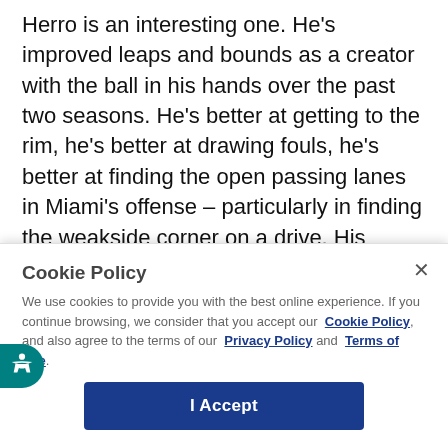Herro is an interesting one. He's improved leaps and bounds as a creator with the ball in his hands over the past two seasons. He's better at getting to the rim, he's better at drawing fouls, he's better at finding the open passing lanes in Miami's offense – particularly in finding the weakside corner on a drive. His ability to be a threat with the ball in his hands, to create something out...
Cookie Policy
We use cookies to provide you with the best online experience. If you continue browsing, we consider that you accept our Cookie Policy, and also agree to the terms of our Privacy Policy and Terms of Use.